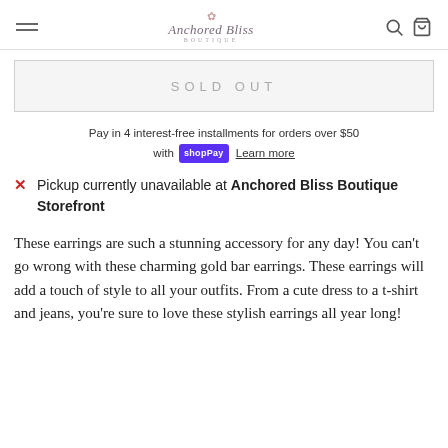Anchored Bliss Boutique
SOLD OUT
Pay in 4 interest-free installments for orders over $50 with shopPay Learn more
Pickup currently unavailable at Anchored Bliss Boutique Storefront
These earrings are such a stunning accessory for any day! You can't go wrong with these charming gold bar earrings. These earrings will add a touch of style to all your outfits. From a cute dress to a t-shirt and jeans, you're sure to love these stylish earrings all year long!